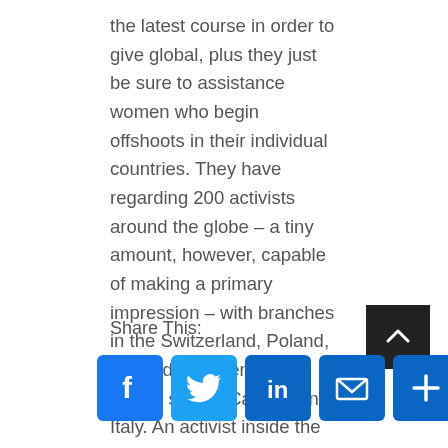the latest course in order to give global, plus they just be sure to assistance women who begin offshoots in their individual countries. They have regarding 200 activists around the globe – a tiny amount, however, capable of making a primary impression – with branches in the Switzerland, Poland, Holland, Sweden, Brazil, United states, Canada and Italy. An activist inside the Tunisia recently posted a nude image of by herself on line, and two months ago it absolutely was reported that a great fatwa had come granted, calling for the lady is stoned to passing.
Share This: